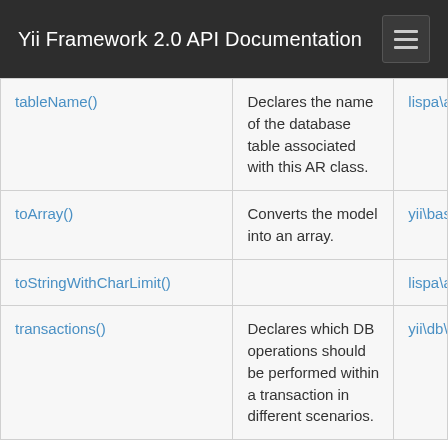Yii Framework 2.0 API Documentation
| Method | Description | Defined By |
| --- | --- | --- |
| tableName() | Declares the name of the database table associated with this AR class. | lispa\amos |
| toArray() | Converts the model into an array. | yii\base\Ar |
| toStringWithCharLimit() |  | lispa\amos |
| transactions() | Declares which DB operations should be performed within a transaction in different scenarios. | yii\db\Activ |